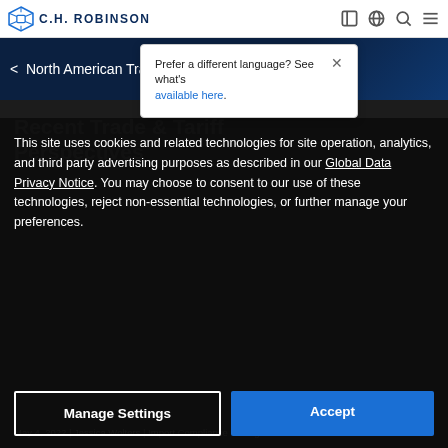C.H. ROBINSON
Prefer a different language? See what's available here.
< North American Trade & Tariff Insights
Recent Trade & Tariff Perspectives
This site uses cookies and related technologies for site operation, analytics, and third party advertising purposes as described in our Global Data Privacy Notice. You may choose to consent to our use of these technologies, reject non-essential technologies, or further manage your preferences.
Manage Settings
Accept
May 4, 2022 | Jessica Wolters | Import Compliance Manager